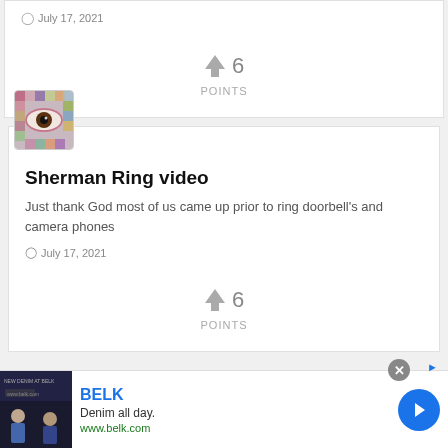July 17, 2021
↑ 6 POINTS
[Figure (photo): Thumbnail avatar image showing a stylized eye with colorful mosaic pattern, used as user profile picture]
Sherman Ring video
Just thank God most of us came up prior to ring doorbell's and camera phones
July 17, 2021
↑ 6 POINTS
[Figure (screenshot): Advertisement banner for BELK: 'Denim all day. www.belk.com' with clothing photo on left and navigation arrow button on right]